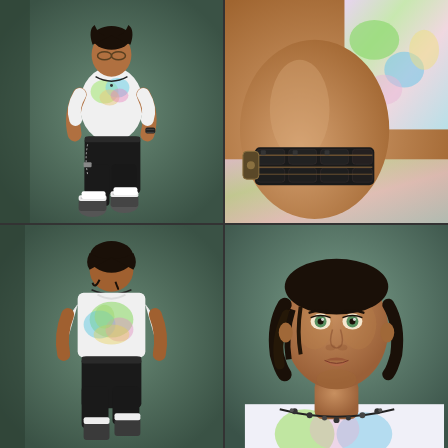[Figure (illustration): Four-panel grid of a 3D rendered male avatar in Second Life style. Top-left: full body front view wearing white floral t-shirt, black capri pants, sneakers, necklace and chain. Top-right: close-up of a dark beaded/tube bracelet on the character's wrist/arm with colorful fabric background. Bottom-left: back view of the same character showing the floral back design on the t-shirt. Bottom-right: close-up of the character's face showing dark hair, green eyes, and a beaded necklace.]